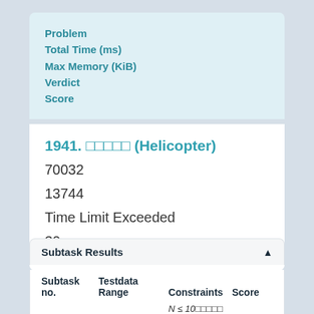| Problem | Total Time (ms) | Max Memory (KiB) | Verdict | Score |
| --- | --- | --- | --- | --- |
| 1941. □□□□□ (Helicopter) | 70032 | 13744 | Time Limit Exceeded | 30 |
| Subtask no. | Testdata Range | Constraints | Score |
| --- | --- | --- | --- |
|  |  | N ≤ 10□□□□□ |  |